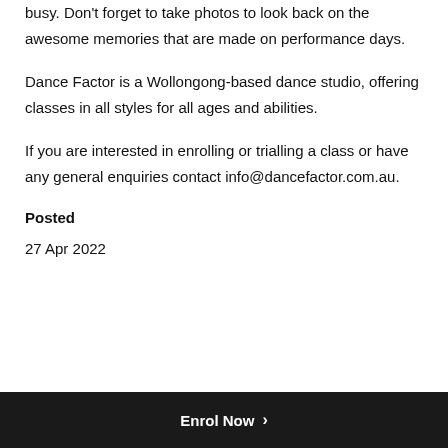busy. Don't forget to take photos to look back on the awesome memories that are made on performance days.
Dance Factor is a Wollongong-based dance studio, offering classes in all styles for all ages and abilities.
If you are interested in enrolling or trialling a class or have any general enquiries contact info@dancefactor.com.au.
Posted
27 Apr 2022
Enrol Now >